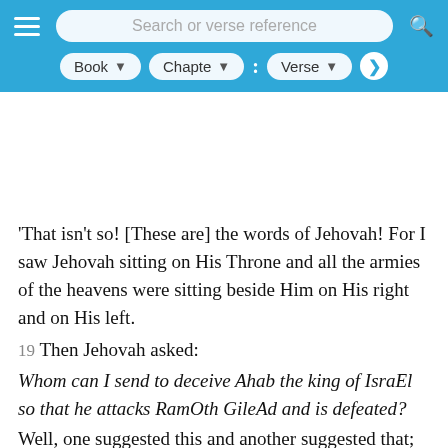Search or verse reference | Book | Chapter | Verse
'That isn't so! [These are] the words of Jehovah! For I saw Jehovah sitting on His Throne and all the armies of the heavens were sitting beside Him on His right and on His left.
19 Then Jehovah asked:
Whom can I send to deceive Ahab the king of IsraEl so that he attacks RamOth GileAd and is defeated?
Well, one suggested this and another suggested that;
20 but then a spirit stepped forward into the presence of Jehovah 2 and said,
I can fool him!
And when Jehovah asked how, 21 he said:
I will go into the mouths of his prophets as a lying spirit.
And [God] said: